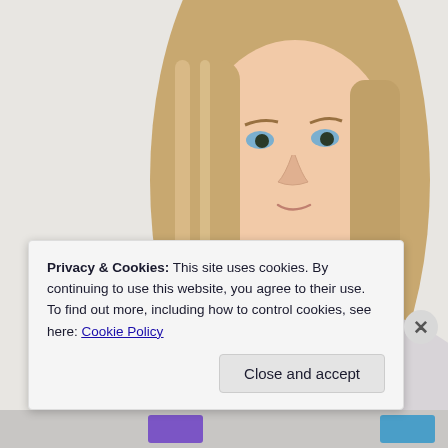[Figure (photo): Portrait photo of a young blonde woman with blue eyes, long straight hair, wearing a white top and a necklace, against a white/light gray background.]
Privacy & Cookies: This site uses cookies. By continuing to use this website, you agree to their use.
To find out more, including how to control cookies, see here: Cookie Policy
Close and accept